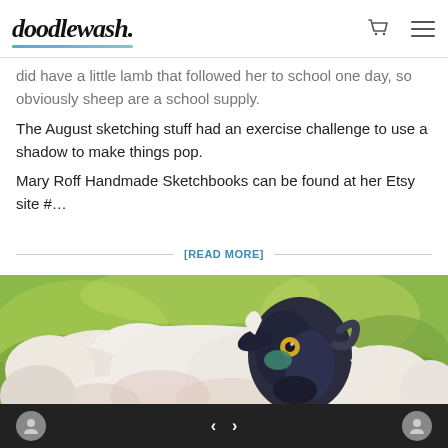doodlewash. [cart icon] [menu icon]
did have a little lamb that followed her to school one day, so obviously sheep are a school supply.
The August sketching stuff had an exercise challenge to use a shadow to make things pop.
Mary Roff Handmade Sketchbooks can be found at her Etsy site #...
[READ MORE]
[Figure (illustration): Watercolor painting of a sheep with fluffy white wool and a dark face with yellow eyes, on a green background.]
user icon | < > | user icon